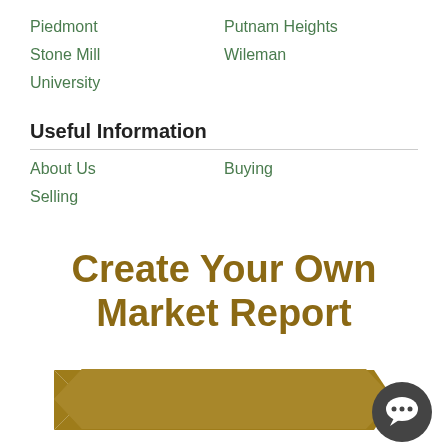Piedmont
Putnam Heights
Stone Mill
Wileman
University
Useful Information
About Us
Buying
Selling
[Figure (illustration): Gold ribbon banner with 'Create Your Own Market Report' text in bold gold letters above it, and a dark grey chat bubble icon in the bottom right corner]